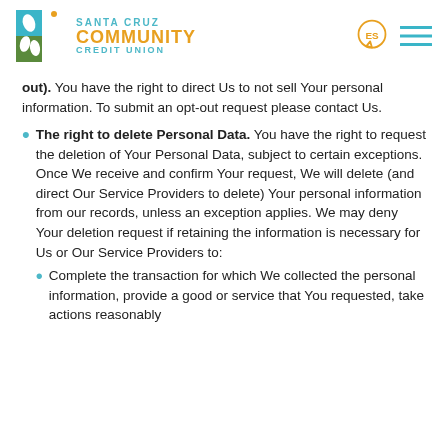Santa Cruz Community Credit Union
out). You have the right to direct Us to not sell Your personal information. To submit an opt-out request please contact Us.
The right to delete Personal Data. You have the right to request the deletion of Your Personal Data, subject to certain exceptions. Once We receive and confirm Your request, We will delete (and direct Our Service Providers to delete) Your personal information from our records, unless an exception applies. We may deny Your deletion request if retaining the information is necessary for Us or Our Service Providers to:
Complete the transaction for which We collected the personal information, provide a good or service that You requested, take actions reasonably